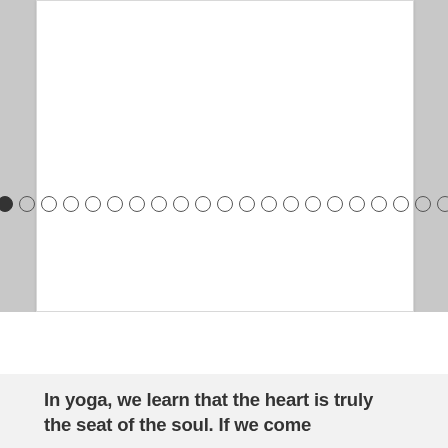[Figure (screenshot): A white card/slide panel with a horizontal row of pagination dots. The first dot is filled (active/dark), and approximately 20 dots follow as empty circles. The card area is mostly blank white.]
In yoga, we learn that the heart is truly the seat of the soul. If we come